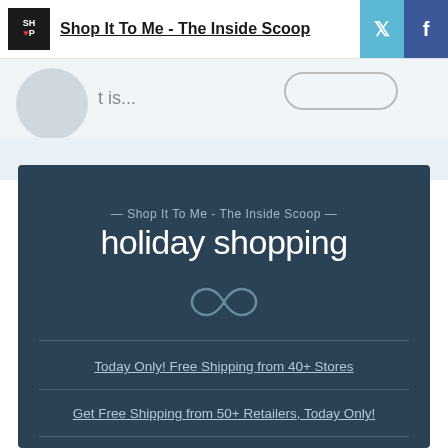Shop It To Me - The Inside Scoop
t is...
— Shop It To Me - The Inside Scoop —
holiday shopping
Today Only! Free Shipping from 40+ Stores
Get Free Shipping from 50+ Retailers, Today Only!